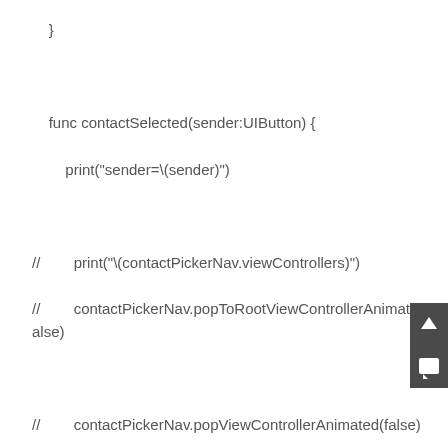}



    func contactSelected(sender:UIButton) {

        print("sender=\(sender)")



//        print("\(contactPickerNav.viewControllers)")

//        contactPickerNav.popToRootViewControllerAnimated(false)



//        contactPickerNav.popViewControllerAnimated(false)